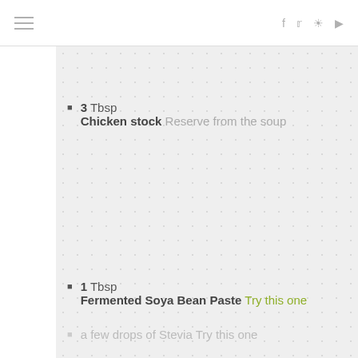≡  f  twitter  instagram  youtube
3 Tbsp Chicken stock Reserve from the soup
1 Tbsp Fermented Soya Bean Paste Try this one
a few drops of Stevia Try this one